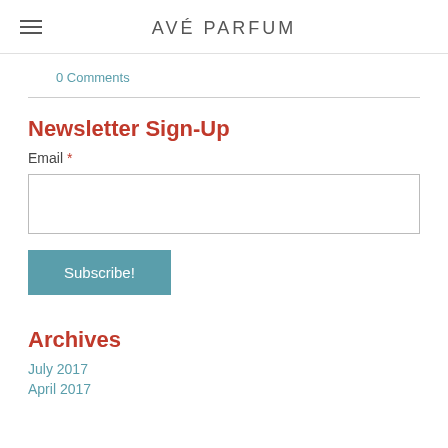AVÉ PARFUM
0 Comments
Newsletter Sign-Up
Email *
Archives
July 2017
April 2017